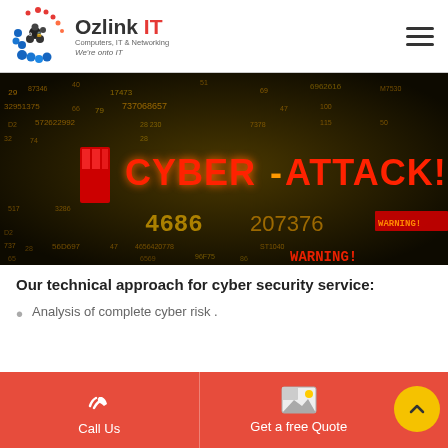Ozlink IT — Computers, IT & Networking — We're onto IT
[Figure (photo): Cyber attack themed digital display showing glowing red and yellow numbers, hex codes, and text 'CYBER-ATTACK!' and 'WARNING!' on a dark background]
Our technical approach for cyber security service:
Analysis of complete cyber risk .
Call Us | Get a free Quote